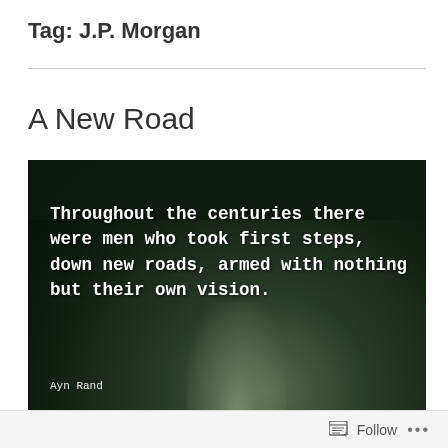Tag: J.P. Morgan
A New Road
[Figure (photo): Dark forest road image with white bold text quote: 'Throughout the centuries there were men who took first steps, down new roads, armed with nothing but their own vision.' attributed to Ayn Rand]
Follow ...